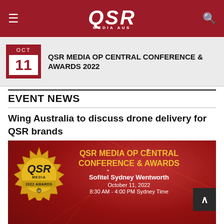QSR MEDIA AUS
[Figure (other): Calendar icon showing OCT 11 with red background and white day box]
QSR MEDIA OP CENTRAL CONFERENCE & AWARDS 2022
EVENT NEWS
Wing Australia to discuss drone delivery for QSR brands
[Figure (illustration): QSR Media Op Central Conference & Awards promotional banner showing gold QSR Media 2022 Awards seal, event details: Sofitel Sydney Wentworth, October 11, 2022, 8:30 AM - 4:00 PM Sydney Time]